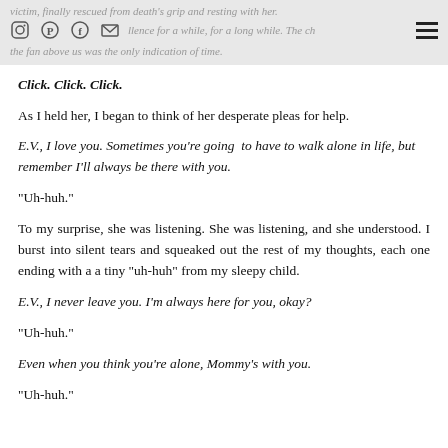victim, finally rescued from death's grip and resting with her. silence for a while, for a long while. The the fan above us was the only indication of time.
Click. Click. Click.
As I held her, I began to think of her desperate pleas for help.
E.V., I love you. Sometimes you're going to have to walk alone in life, but remember I'll always be there with you.
“Uh-huh.”
To my surprise, she was listening. She was listening, and she understood. I burst into silent tears and squeaked out the rest of my thoughts, each one ending with a a tiny “uh-huh” from my sleepy child.
E.V., I never leave you. I’m always here for you, okay?
“Uh-huh.”
Even when you think you’re alone, Mommy’s with you.
“Uh-huh.”